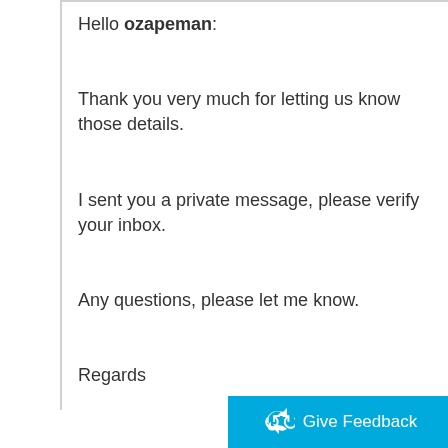Hello ozapeman:
Thank you very much for letting us know those details.
I sent you a private message, please verify your inbox.
Any questions, please let me know.
Regards